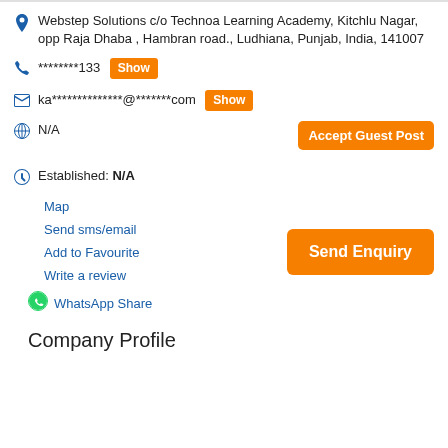Webstep Solutions c/o Technoa Learning Academy, Kitchlu Nagar, opp Raja Dhaba , Hambran road., Ludhiana, Punjab, India, 141007
********133 Show
ka**************@*******com Show
N/A
Established: N/A
Map
Send sms/email
Add to Favourite
Write a review
WhatsApp Share
Company Profile